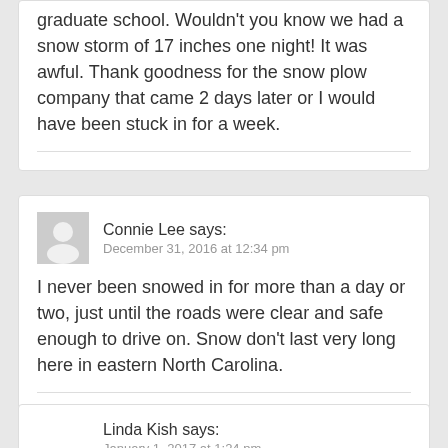graduate school. Wouldn't you know we had a snow storm of 17 inches one night! It was awful. Thank goodness for the snow plow company that came 2 days later or I would have been stuck in for a week.
Connie Lee says: December 31, 2016 at 12:34 pm
I never been snowed in for more than a day or two, just until the roads were clear and safe enough to drive on. Snow don't last very long here in eastern North Carolina.
Linda Kish says: January 1, 2017 at 1:24 pm